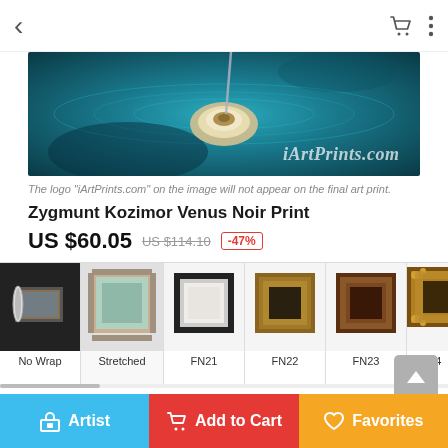[Figure (screenshot): Mobile app screenshot showing product page for Zygmunt Kozimor Venus Noir Print on iArtPrints.com. Navigation bar at top with back arrow and cart/menu icons. Art image of shell/nautilus underwater with teal water background and iArtPrints.com watermark. Caption, title, price with discount, frame type selector strip (No Wrap, Stretched, FN21, FN22, FN23, FN4...), Choose Print Image Size section with size radio buttons partially visible. Bottom navigation bar with Artist, Add to Cart, Favorites buttons.]
The logo "iArtPrints.com" on the image will not appear on the final art print.
Zygmunt Kozimor Venus Noir Print
US $60.05  US $114.10  -47%
Choose Print Image Size